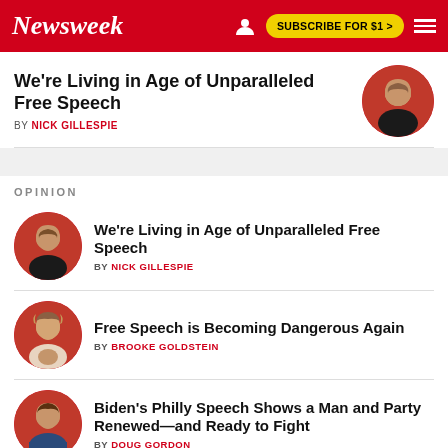Newsweek | SUBSCRIBE FOR $1 >
We're Living in Age of Unparalleled Free Speech
BY NICK GILLESPIE
OPINION
We're Living in Age of Unparalleled Free Speech
BY NICK GILLESPIE
Free Speech is Becoming Dangerous Again
BY BROOKE GOLDSTEIN
Biden's Philly Speech Shows a Man and Party Renewed—and Ready to Fight
BY DOUG GORDON